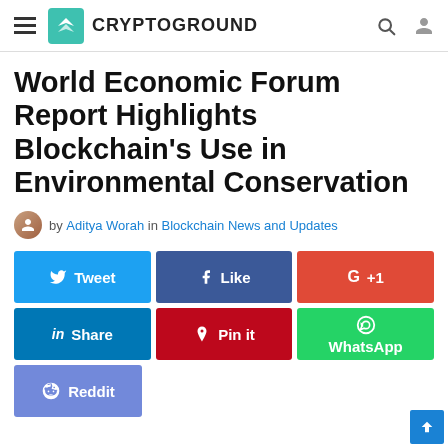CRYPTOGROUND
World Economic Forum Report Highlights Blockchain's Use in Environmental Conservation
by Aditya Worah in Blockchain News and Updates
[Figure (infographic): Social share buttons: Tweet, Share (LinkedIn), Like (Facebook), Pin it (Pinterest), G+1 (Google+), WhatsApp, Reddit]